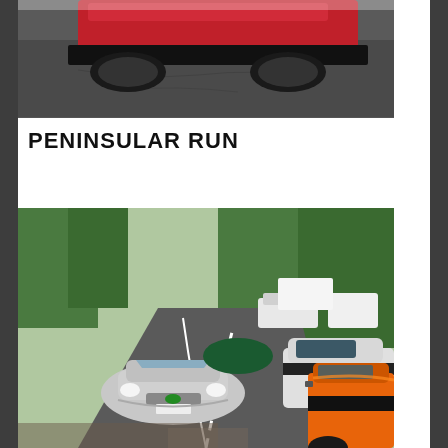[Figure (photo): Partial view of a red sports car on a road, seen from behind/side, with asphalt road surface visible below.]
PENINSULAR RUN
[Figure (photo): Multiple Lotus sports cars parked and driving on a winding road surrounded by trees and greenery. A silver Lotus Elise approaches head-on, with other Lotus cars including a white and an orange one lined up on the road shoulder.]